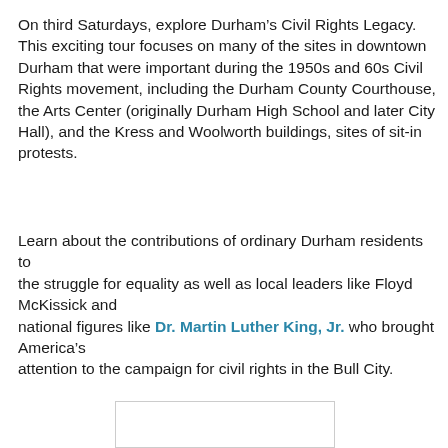On third Saturdays, explore Durham’s Civil Rights Legacy.  This exciting tour focuses on many of the sites in downtown Durham that were important during the 1950s and 60s Civil Rights movement, including the Durham County Courthouse, the Arts Center (originally Durham High School and later City Hall), and the Kress and Woolworth buildings, sites of sit-in protests.
Learn about the contributions of ordinary Durham residents to the struggle for equality as well as local leaders like Floyd McKissick and national figures like Dr. Martin Luther King, Jr. who brought America’s attention to the campaign for civil rights in the Bull City.
[Figure (other): Partial image box visible at bottom of page, white rectangle with thin border]